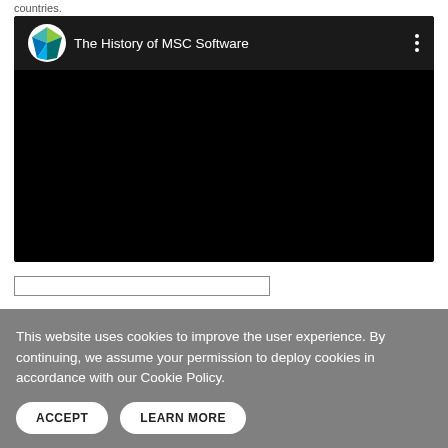countries.
[Figure (screenshot): YouTube-style embedded video player showing 'The History of MSC Software' with MSC Software logo (teal/green diamond shape) on a black background]
This website uses cookies to improve the user experience. By continuing, we assume your permission to deploy cookies in accordance with our Cookie Policy.
ACCEPT   LEARN MORE